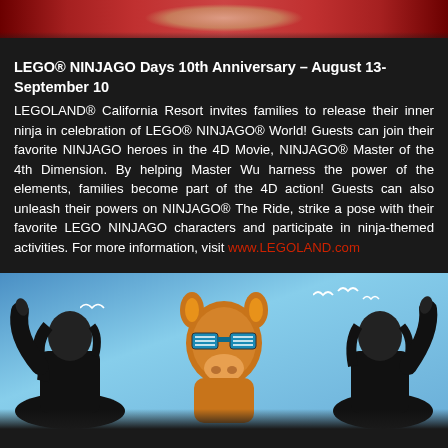[Figure (photo): Top cropped image showing LEGO NINJAGO themed characters/scene with red background]
LEGO® NINJAGO Days 10th Anniversary – August 13-September 10
LEGOLAND® California Resort invites families to release their inner ninja in celebration of LEGO® NINJAGO® World! Guests can join their favorite NINJAGO heroes in the 4D Movie, NINJAGO® Master of the 4th Dimension. By helping Master Wu harness the power of the elements, families become part of the 4D action! Guests can also unleash their powers on NINJAGO® The Ride, strike a pose with their favorite LEGO NINJAGO characters and participate in ninja-themed activities. For more information, visit www.LEGOLAND.com
[Figure (photo): Photo showing a large orange camel mascot with blue shutter sunglasses flanked by two people with arms raised pointing upward, against a blue sky with white birds]